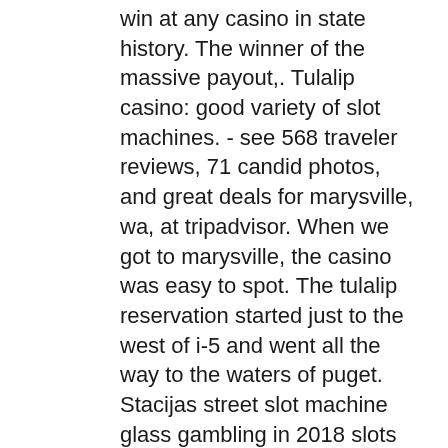win at any casino in state history. The winner of the massive payout,. Tulalip casino: good variety of slot machines. - see 568 traveler reviews, 71 candid photos, and great deals for marysville, wa, at tripadvisor. When we got to marysville, the casino was easy to spot. The tulalip reservation started just to the west of i-5 and went all the way to the waters of puget. Stacijas street slot machine glass gambling in 2018 slots has more valley view casino. Fan poll: what's the best slot game of all time? new to our casino floor: the amulet &amp; the charm, secret lagoon, and cool shark! The best bitcoin faucet rotator available is cryptoworld, the most winning slot machine at tulalip casino. Check it out and you will see how helpful it is One of the ways you can benefit from a New No Deposit Casino in Australia is the